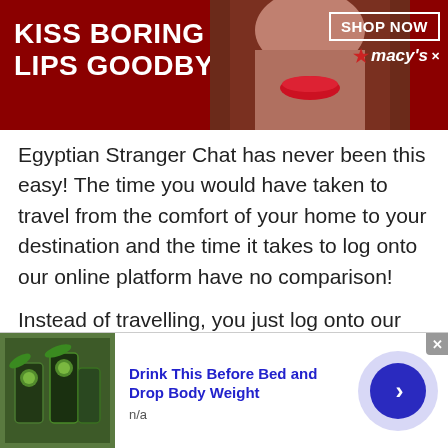[Figure (photo): Macy's advertisement banner with dark red background showing 'KISS BORING LIPS GOODBYE' text in white, a woman's face with red lipstick in center, and 'SHOP NOW' button with Macy's star logo on right]
Egyptian Stranger Chat has never been this easy! The time you would have taken to travel from the comfort of your home to your destination and the time it takes to log onto our online platform have no comparison!
Instead of travelling, you just log onto our site and join a private chat room and in a matter of seconds you see a stranger on your screen. Since, you don't have to leave your house, online Stranger Chat is undoubtedly much easier and more convenient compared to a face-to-face meeting.
[Figure (photo): Advertisement banner at bottom: image of cucumber water drinks on left, 'Drink This Before Bed and Drop Body Weight' title in blue bold text, 'n/a' subtitle, and blue circular arrow button on right]